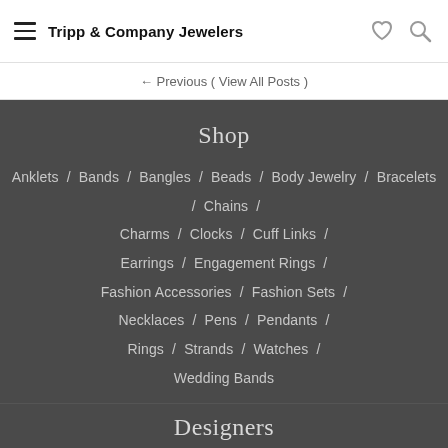Tripp & Company Jewelers
← Previous ( View All Posts )
Shop
Anklets / Bands / Bangles / Beads / Body Jewelry / Bracelets / Chains / Charms / Clocks / Cuff Links / Earrings / Engagement Rings / Fashion Accessories / Fashion Sets / Necklaces / Pens / Pendants / Rings / Strands / Watches / Wedding Bands
Designers
Romance / Radiance / Tesoro / LaVie / Eleganza / Ammara Stone /